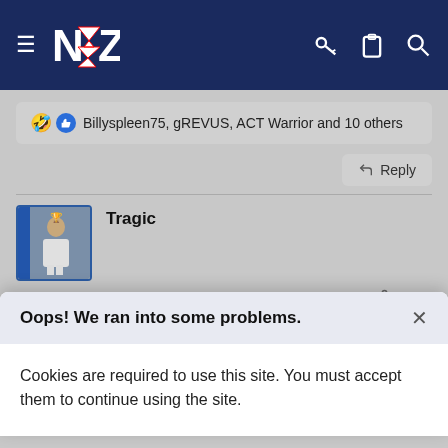[Figure (screenshot): Website navigation bar with dark navy background, hamburger menu icon, NZ Warriors logo, and icons for key, clipboard, and search on the right]
🤣 👍 Billyspleen75, gREVUS, ACT Warrior and 10 others
↩ Reply
Tragic
Apr 10, 2017
#132
I haven't watched the game on Telly yet coz missus and daughter
Oops! We ran into some problems.
Cookies are required to use this site. You must accept them to continue using the site.